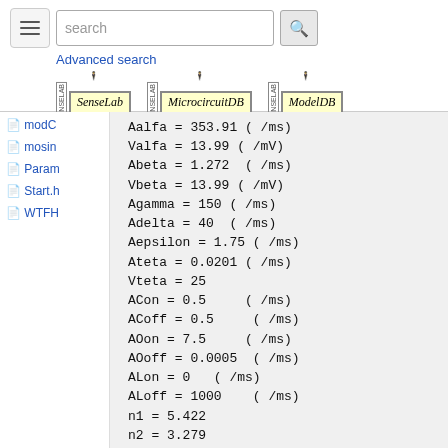search | Advanced search | SenseLab | MicrocircuitDB | ModelDB
modC
mosin
Param
Start.h
WTFH
Aalfa = 353.91 ( /ms)
Valfa = 13.99 ( /mV)
Abeta = 1.272  ( /ms)
Vbeta = 13.99 ( /mV)
Agamma = 150 ( /ms)
Adelta = 40  ( /ms)
Aepsilon = 1.75 ( /ms)
Ateta = 0.0201 ( /ms)
Vteta = 25
ACon = 0.5     ( /ms)
ACoff = 0.5     ( /ms)
AOon = 7.5     ( /ms)
AOoff = 0.0005  ( /ms)
ALon = 0   ( /ms)
ALoff = 1000    ( /ms)
n1 = 5.422
n2 = 3.279
n3 = 1.83
n4 = 0.738